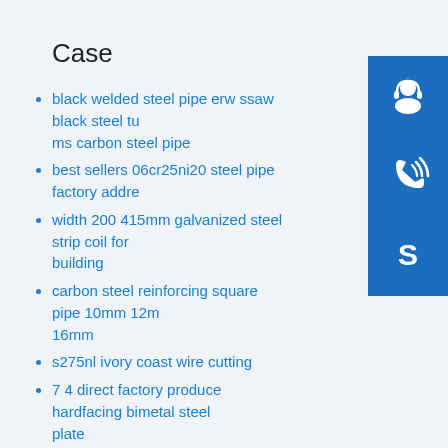Case
black welded steel pipe erw ssaw black steel tu ms carbon steel pipe
best sellers 06cr25ni20 steel pipe factory addre
width 200 415mm galvanized steel strip coil for building
carbon steel reinforcing square pipe 10mm 12m 16mm
s275nl ivory coast wire cutting
7 4 direct factory produce hardfacing bimetal steel plate
[Figure (illustration): Three blue square icon buttons showing: a customer service headset/person icon, a phone/call icon, and a Skype logo icon]
[Figure (illustration): Blue square phone icon]
[Figure (illustration): Blue square Skype logo icon]